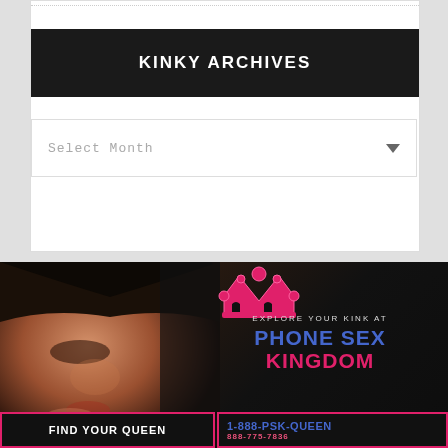KINKY ARCHIVES
Select Month
[Figure (illustration): Advertisement banner with a dark-themed background showing a woman's face on the left side. On the right side: a pink crown icon, text 'EXPLORE YOUR KINK AT', 'PHONE SEX KINGDOM' in blue and pink large bold letters. Bottom buttons: 'FIND YOUR QUEEN' and '1-888-PSK-QUEEN'.]